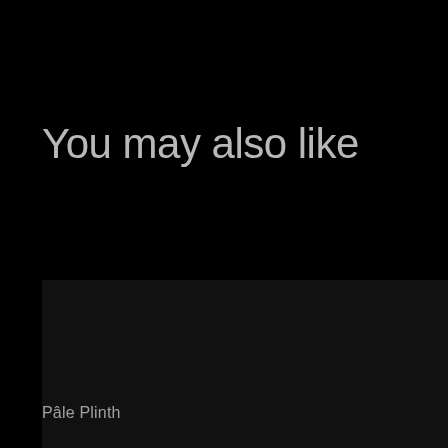You may also like
[Figure (photo): Dark product image placeholder on left, partially visible]
[Figure (photo): Dark product image placeholder on right, partially visible]
Pâle Plinth
Kub Chair
Lucas Morten